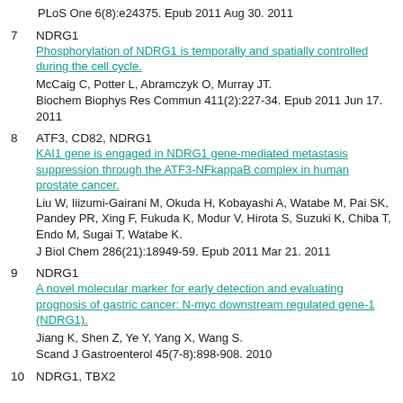PLoS One 6(8):e24375. Epub 2011 Aug 30. 2011
7 NDRG1
Phosphorylation of NDRG1 is temporally and spatially controlled during the cell cycle.
McCaig C, Potter L, Abramczyk O, Murray JT.
Biochem Biophys Res Commun 411(2):227-34. Epub 2011 Jun 17. 2011
8 ATF3, CD82, NDRG1
KAI1 gene is engaged in NDRG1 gene-mediated metastasis suppression through the ATF3-NFkappaB complex in human prostate cancer.
Liu W, Iiizumi-Gairani M, Okuda H, Kobayashi A, Watabe M, Pai SK, Pandey PR, Xing F, Fukuda K, Modur V, Hirota S, Suzuki K, Chiba T, Endo M, Sugai T, Watabe K.
J Biol Chem 286(21):18949-59. Epub 2011 Mar 21. 2011
9 NDRG1
A novel molecular marker for early detection and evaluating prognosis of gastric cancer: N-myc downstream regulated gene-1 (NDRG1).
Jiang K, Shen Z, Ye Y, Yang X, Wang S.
Scand J Gastroenterol 45(7-8):898-908. 2010
10 NDRG1, TBX2